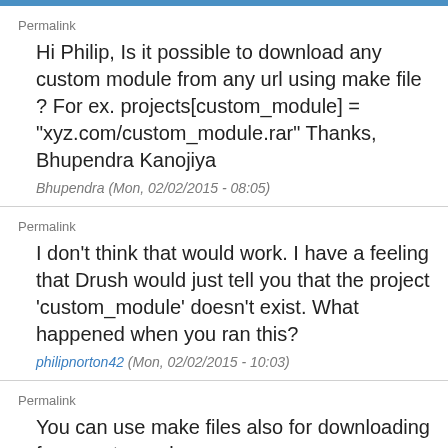Permalink
Hi Philip, Is it possible to download any custom module from any url using make file ? For ex. projects[custom_module] = "xyz.com/custom_module.rar" Thanks, Bhupendra Kanojiya
Bhupendra (Mon, 02/02/2015 - 08:05)
Permalink
I don't think that would work. I have a feeling that Drush would just tell you that the project 'custom_module' doesn't exist. What happened when you ran this?
philipnorton42 (Mon, 02/02/2015 - 10:03)
Permalink
You can use make files also for downloading from custom url as per...